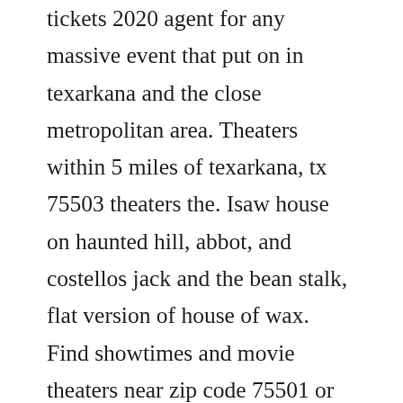tickets 2020 agent for any massive event that put on in texarkana and the close metropolitan area. Theaters within 5 miles of texarkana, tx 75503 theaters the. Isaw house on haunted hill, abbot, and costellos jack and the bean stalk, flat version of house of wax. Find showtimes and movie theaters near zip code 75501 or texarkana, tx. We offer theater texarkana tickets to events held in texarkana so find tickets,llc is considered by many to be. Cinemark texarkana 14 texarkana texas latest movie. The theater replaces the oaklawn opera which closed last month after first opening its